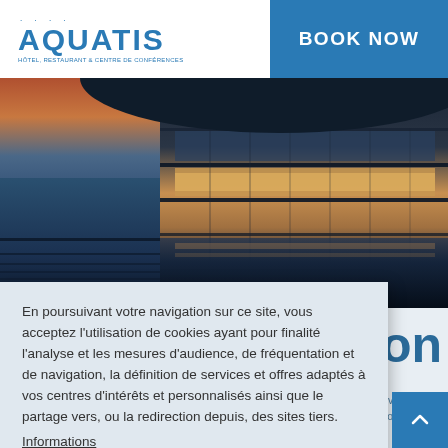[Figure (logo): AQUATIS hotel restaurant and conference center logo with blue text and four dots above]
BOOK NOW
[Figure (photo): Exterior architectural photo of Aquatis hotel and conference center at dusk showing modern curved building facade with glass panels illuminated from within, reflecting on water]
aton
ndividual? Are of Europe's extrao
En poursuivant votre navigation sur ce site, vous acceptez l'utilisation de cookies ayant pour finalité l'analyse et les mesures d'audience, de fréquentation et de navigation, la définition de services et offres adaptés à vos centres d'intérêts et personnalisés ainsi que le partage vers, ou la redirection depuis, des sites tiers.
Informations
Refuser
Accepter